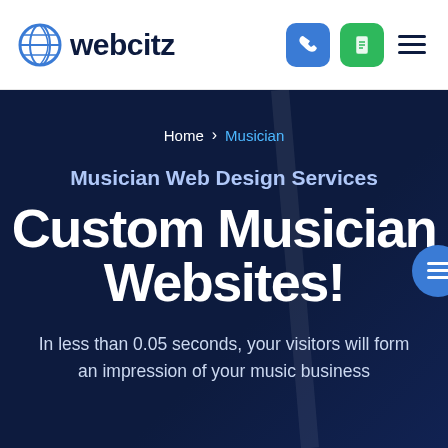webcitz
Home > Musician
Musician Web Design Services
Custom Musician Websites!
In less than 0.05 seconds, your visitors will form an impression of your music business